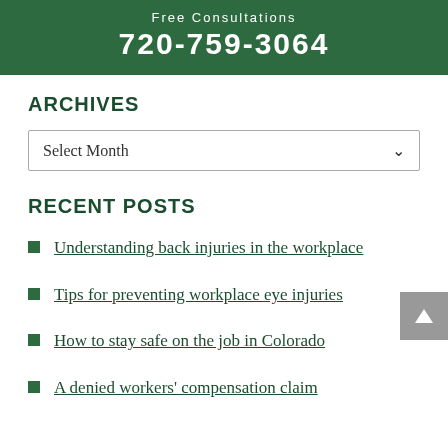Free Consultations
720-759-3064
ARCHIVES
Select Month
RECENT POSTS
Understanding back injuries in the workplace
Tips for preventing workplace eye injuries
How to stay safe on the job in Colorado
A denied workers' compensation claim